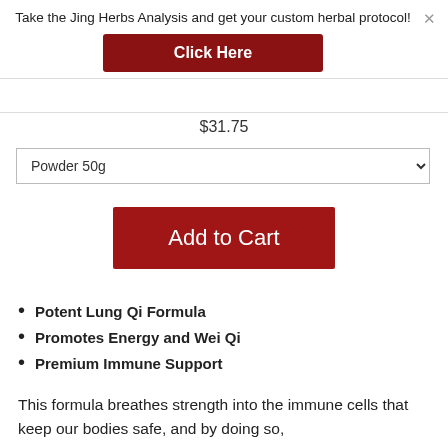Take the Jing Herbs Analysis and get your custom herbal protocol!
Click Here
$31.75
Powder 50g
Add to Cart
Potent Lung Qi Formula
Promotes Energy and Wei Qi
Premium Immune Support
This formula breathes strength into the immune cells that keep our bodies safe, and by doing so,